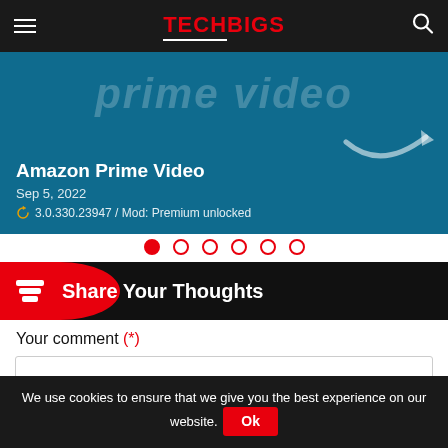TECHBIGS
[Figure (screenshot): Amazon Prime Video app banner showing 'prime video' text with Amazon arrow logo, teal/blue background]
Amazon Prime Video
Sep 5, 2022
3.0.330.23947 / Mod: Premium unlocked
[Figure (infographic): Carousel dots: one filled red dot followed by five empty circle dots]
Share Your Thoughts
Your comment (*)
We use cookies to ensure that we give you the best experience on our website.
Ok